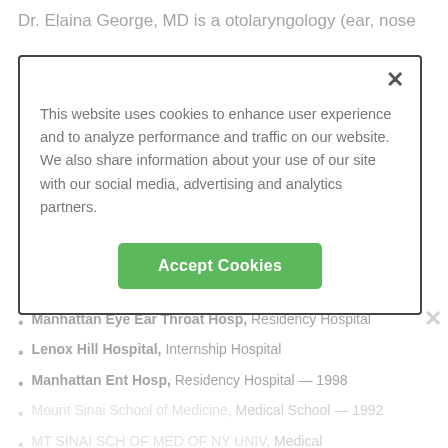Dr. Elaina George, MD is a otolaryngology (ear, nose
[Figure (screenshot): Cookie consent modal dialog with text about website cookie usage and an Accept Cookies button]
Manhattan Eye Ear Throat Hosp, Residency Hospital
Lenox Hill Hospital, Internship Hospital
Manhattan Ent Hosp, Residency Hospital — 1998
Mount Sinai School of Medicine, Medical School — 1992
MT SINAI SCH OF MED OF NY UNIV, Medical